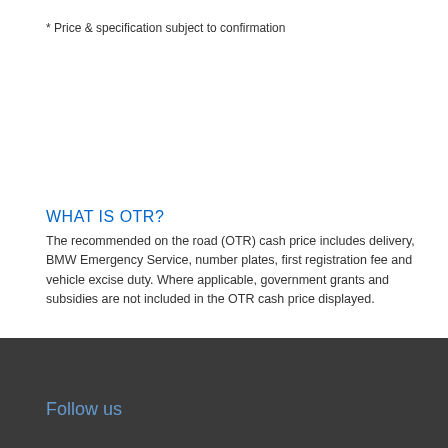* Price & specification subject to confirmation
WHAT IS OTR?
The recommended on the road (OTR) cash price includes delivery, BMW Emergency Service, number plates, first registration fee and vehicle excise duty. Where applicable, government grants and subsidies are not included in the OTR cash price displayed.
Follow us